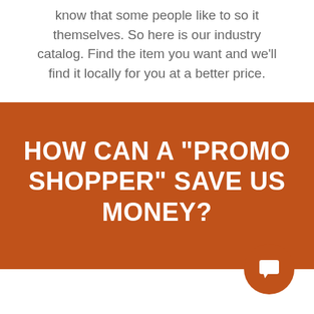know that some people like to so it themselves. So here is our industry catalog. Find the item you want and we'll find it locally for you at a better price.
HOW CAN A "PROMO SHOPPER" SAVE US MONEY?
What if when you went to search for your next